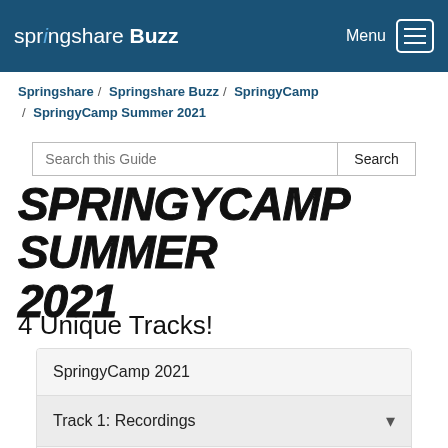springshare Buzz  Menu
Springshare / Springshare Buzz / SpringyCamp / SpringyCamp Summer 2021
Search this Guide  Search
SPRINGYCAMP SUMMER 2021
4 Unique Tracks!
SpringyCamp 2021
Track 1: Recordings
Track 2: Recordings